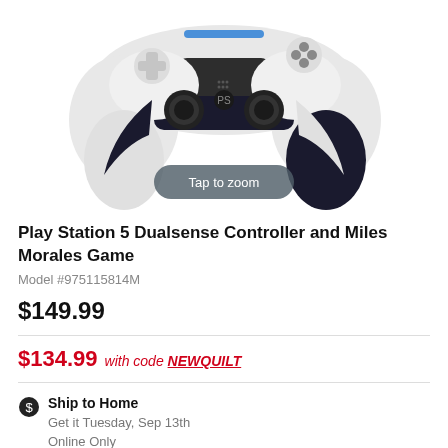[Figure (photo): PlayStation 5 DualSense wireless controller shown from above/front angle in white and black colorway, with a 'Tap to zoom' overlay pill button]
Play Station 5 Dualsense Controller and Miles Morales Game
Model #975115814M
$149.99
$134.99 with code NEWQUILT
Ship to Home
Get it Tuesday, Sep 13th
Online Only